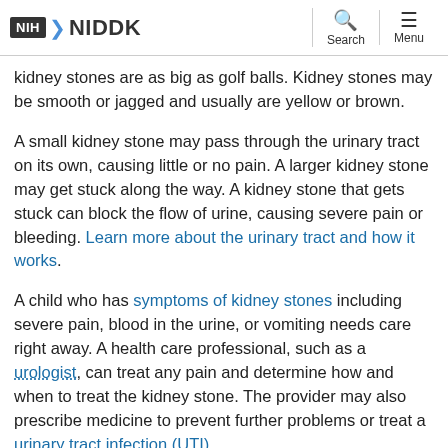NIH NIDDK | Search | Menu
kidney stones are as big as golf balls. Kidney stones may be smooth or jagged and usually are yellow or brown.
A small kidney stone may pass through the urinary tract on its own, causing little or no pain. A larger kidney stone may get stuck along the way. A kidney stone that gets stuck can block the flow of urine, causing severe pain or bleeding. Learn more about the urinary tract and how it works.
A child who has symptoms of kidney stones including severe pain, blood in the urine, or vomiting needs care right away. A health care professional, such as a urologist, can treat any pain and determine how and when to treat the kidney stone. The provider may also prescribe medicine to prevent further problems or treat a urinary tract infection (UTI).